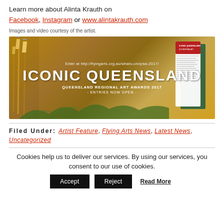Learn more about Alinta Krauth on Facebook, Instagram or www.alintakrauth.com
Images and video courtesy of the artist.
[Figure (illustration): Promotional banner for Iconic Queensland - Queensland Regional Art Awards 2017, Entries Now Open. Enter at http://flyingarts.org.au/whats-on/qraa-2017/. Features paintbrushes on the left and a booklet/pamphlet on the right against a golden-brown background with foliage.]
Filed Under: Artist Feature, Flying Arts News, Latest News, Uncategorized